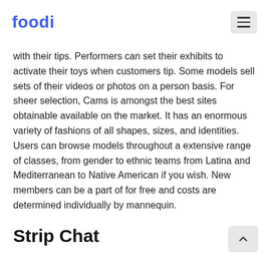foodi
with their tips. Performers can set their exhibits to activate their toys when customers tip. Some models sell sets of their videos or photos on a person basis. For sheer selection, Cams is amongst the best sites obtainable available on the market. It has an enormous variety of fashions of all shapes, sizes, and identities. Users can browse models throughout a extensive range of classes, from gender to ethnic teams from Latina and Mediterranean to Native American if you wish. New members can be a part of for free and costs are determined individually by mannequin.
Strip Chat